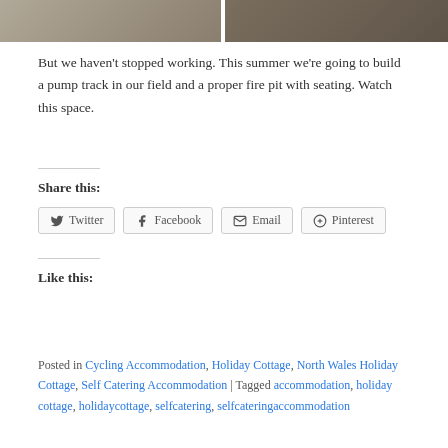[Figure (photo): Two photos side by side showing exterior of holiday cottage/accommodation]
But we haven't stopped working.  This summer we're going to build a pump track in our field and a proper fire pit with seating.  Watch this space.
Share this:
Twitter  Facebook  Email  Pinterest
Like this:
Posted in Cycling Accommodation, Holiday Cottage, North Wales Holiday Cottage, Self Catering Accommodation | Tagged accommodation, holiday cottage, holidaycottage, selfcatering, selfcateringaccommodation